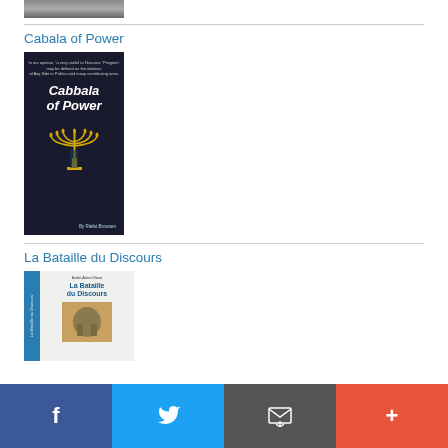[Figure (photo): Partial cropped photo at top of page]
Cabala of Power
[Figure (photo): Book cover of 'Cabbala of Power' - dark background with menorah image and text]
La Bataille du Discours
[Figure (photo): Book cover of 'La Bataille du Discours' showing blue spine and front cover with soldier image]
f  [twitter bird]  [email]  +